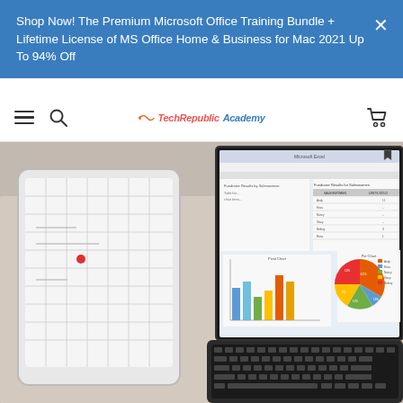Shop Now! The Premium Microsoft Office Training Bundle + Lifetime License of MS Office Home & Business for Mac 2021 Up To 94% Off
[Figure (screenshot): TechRepublic Academy website navigation bar with hamburger menu, search icon, logo, and cart icon]
[Figure (photo): Photo of a laptop and tablet on a desk; the laptop screen shows Microsoft Excel/Office with a bar chart and pie chart; the tablet shows a calendar]